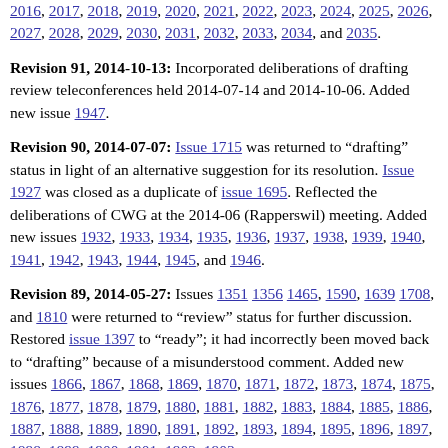2016, 2017, 2018, 2019, 2020, 2021, 2022, 2023, 2024, 2025, 2026, 2027, 2028, 2029, 2030, 2031, 2032, 2033, 2034, and 2035.
Revision 91, 2014-10-13: Incorporated deliberations of drafting review teleconferences held 2014-07-14 and 2014-10-06. Added new issue 1947.
Revision 90, 2014-07-07: Issue 1715 was returned to "drafting" status in light of an alternative suggestion for its resolution. Issue 1927 was closed as a duplicate of issue 1695. Reflected the deliberations of CWG at the 2014-06 (Rapperswil) meeting. Added new issues 1932, 1933, 1934, 1935, 1936, 1937, 1938, 1939, 1940, 1941, 1942, 1943, 1944, 1945, and 1946.
Revision 89, 2014-05-27: Issues 1351 1356 1465, 1590, 1639 1708, and 1810 were returned to "review" status for further discussion. Restored issue 1397 to "ready"; it had incorrectly been moved back to "drafting" because of a misunderstood comment. Added new issues 1866, 1867, 1868, 1869, 1870, 1871, 1872, 1873, 1874, 1875, 1876, 1877, 1878, 1879, 1880, 1881, 1882, 1883, 1884, 1885, 1886, 1887, 1888, 1889, 1890, 1891, 1892, 1893, 1894, 1895, 1896, 1897, 1898, 1899, 1900, 1901, 1902, 1903,